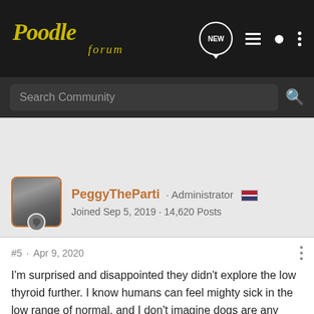Poodle forum
Search Community
PeggyTheParti · Administrator
Joined Sep 5, 2019 · 14,620 Posts
#5 · Apr 9, 2020
I'm surprised and disappointed they didn't explore the low thyroid further. I know humans can feel mighty sick in the low range of normal, and I don't imagine dogs are any different. Dry skin and hair loss are classic symptoms of impaired thyroid function.

I'd request a referral to a specialist for your beautiful boy. Or